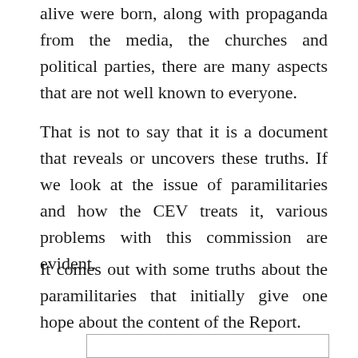alive were born, along with propaganda from the media, the churches and political parties, there are many aspects that are not well known to everyone.
That is not to say that it is a document that reveals or uncovers these truths. If we look at the issue of paramilitaries and how the CEV treats it, various problems with this commission are evident.
It comes out with some truths about the paramilitaries that initially give one hope about the content of the Report.